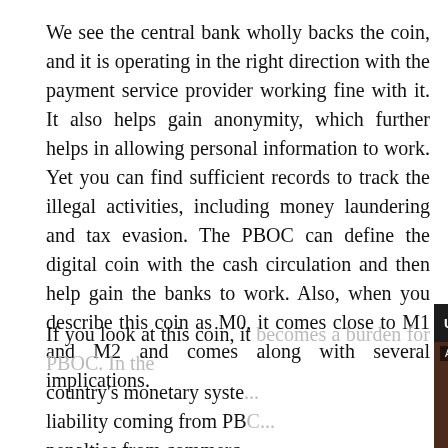We see the central bank wholly backs the coin, and it is operating in the right direction with the payment service provider working fine with it. It also helps gain anonymity, which further helps in allowing personal information to work. Yet you can find sufficient records to track the illegal activities, including money laundering and tax evasion. The PBOC can define the digital coin with the cash circulation and then help gain the banks to work. Also, when you describe this coin as M0, it comes close to M1 and M2 and comes along with several implications.
If you look at this coin, it becomes a burden for PBOC. In the country's monetary syste... liability coming from PBC... penalties from commerc... e-CNY, which remains a... can find the digital wallet... the bank account that ca... programs. It helps in wor...
[Figure (screenshot): Video overlay popup titled 'Up Next - Pharmacists urge agains...' with an 'Ad 1 of 1 (0:30)' label, a muted icon button, and a video thumbnail showing a baby being examined by a medical professional.]